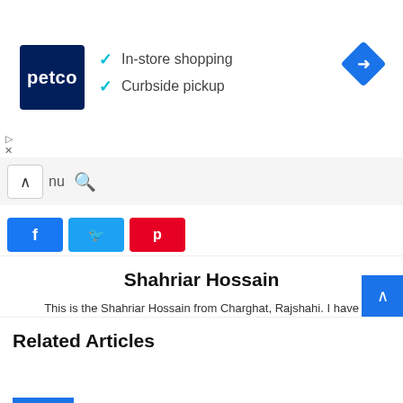[Figure (screenshot): Petco advertisement banner with logo and in-store shopping / curbside pickup text, plus a blue navigation diamond icon]
✓ In-store shopping
✓ Curbside pickup
[Figure (screenshot): Toolbar with caret/up arrow, 'nu' text, search icon]
[Figure (screenshot): Social share buttons: Facebook (blue), Twitter (light blue), Pinterest (red)]
Shahriar Hossain
This is the Shahriar Hossain from Charghat, Rajshahi. I have completed my MA from Rajshahi University in English Literature. Currently living a 🎯🎯🎯🎯🎯🎯🎯🎯🎯🎯 Life with friends & Family. Always Positive & Simple ❤ Friendly, Helpful, Learning & Teaching Everyday 😎
Related Articles